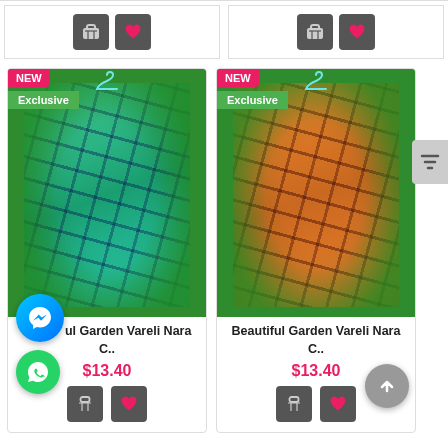[Figure (screenshot): Top strip showing partial product cards from previous row with shopping cart and heart buttons]
[Figure (photo): Green/teal plaid fabric garment (Beautiful Garden Vareli Nara C..) on grass background with NEW and Exclusive badges]
Beautiful Garden Vareli Nara C..
$13.40
[Figure (photo): Orange plaid fabric garment (Beautiful Garden Vareli Nara C..) on grass background with NEW and Exclusive badges]
Beautiful Garden Vareli Nara C..
$13.40